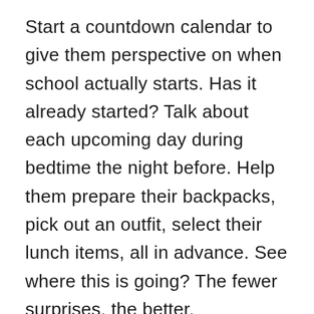Start a countdown calendar to give them perspective on when school actually starts. Has it already started? Talk about each upcoming day during bedtime the night before. Help them prepare their backpacks, pick out an outfit, select their lunch items, all in advance. See where this is going? The fewer surprises, the better.
DON'T introduce the idea of worry or fear if they're not showing any signs of those emotions. Maybe they're just fine marching into the school. If they are, try